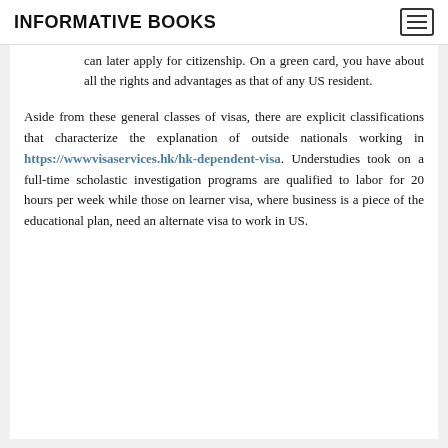INFORMATIVE BOOKS
can later apply for citizenship. On a green card, you have about all the rights and advantages as that of any US resident.
Aside from these general classes of visas, there are explicit classifications that characterize the explanation of outside nationals working in https://wwwvisaservices.hk/hk-dependent-visa. Understudies took on a full-time scholastic investigation programs are qualified to labor for 20 hours per week while those on learner visa, where business is a piece of the educational plan, need an alternate visa to work in US.